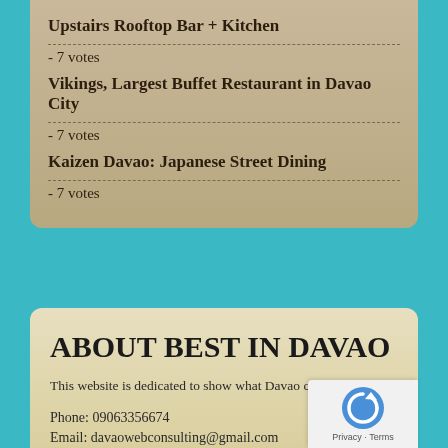Upstairs Rooftop Bar + Kitchen
- 7 votes
Vikings, Largest Buffet Restaurant in Davao City
- 7 votes
Kaizen Davao: Japanese Street Dining
- 7 votes
ABOUT BEST IN DAVAO
This website is dedicated to show what Davao can give to you
Phone:  09063356674
Email:  davaowebconsulting@gmail.com